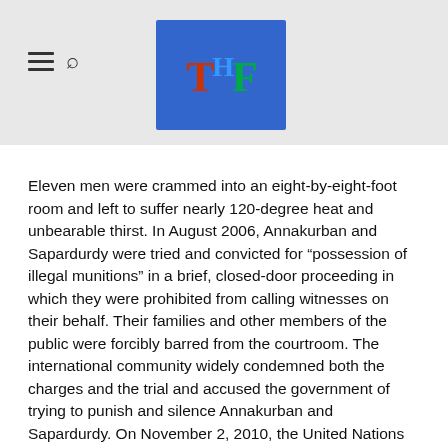THF logo and navigation
Eleven men were crammed into an eight-by-eight-foot room and left to suffer nearly 120-degree heat and unbearable thirst. In August 2006, Annakurban and Sapardurdy were tried and convicted for “possession of illegal munitions” in a brief, closed-door proceeding in which they were prohibited from calling witnesses on their behalf. Their families and other members of the public were forcibly barred from the courtroom. The international community widely condemned both the charges and the trial and accused the government of trying to punish and silence Annakurban and Sapardurdy. On November 2, 2010, the United Nations Working Group on Arbitrary Detention released its opinion that Turkmenistan’s arrest and continued detention of Annakurban and Sapardurdy is arbitrary and violates international law, calling on the Turkmenistan government to release the two human rights advocates. But the outcry has waned, and Turkmenistan hasn’t blinked.